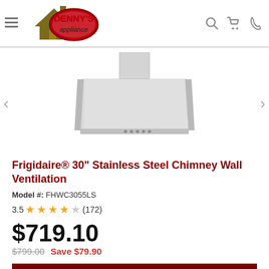Denny's Appliance - navigation header with logo, search, cart, phone icons
[Figure (photo): Frigidaire stainless steel chimney wall ventilation hood, showing the product from below-front angle, trapezoidal/pyramid shape in silver/stainless finish]
Frigidaire® 30" Stainless Steel Chimney Wall Ventilation
Model #: FHWC3055LS
3.5 ★★★★☆ (172)
$719.10
$799.00  Save $79.90
ADD TO CART